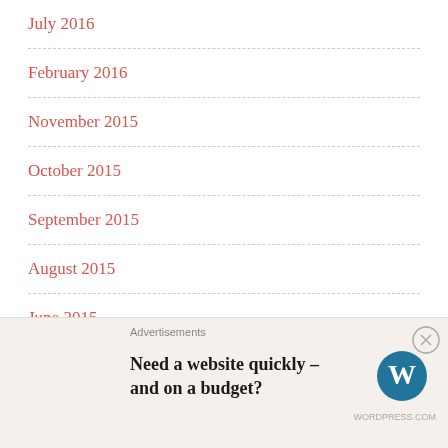July 2016
February 2016
November 2015
October 2015
September 2015
August 2015
June 2015
May 2015
April 2015
Advertisements
Need a website quickly – and on a budget?